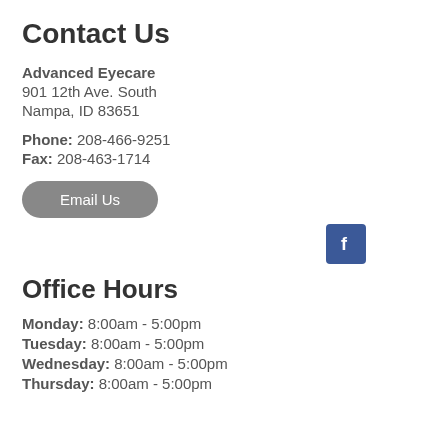Contact Us
Advanced Eyecare
901 12th Ave. South
Nampa, ID 83651
Phone: 208-466-9251
Fax: 208-463-1714
Email Us
[Figure (logo): Facebook logo icon — blue square with white letter f]
Office Hours
Monday: 8:00am - 5:00pm
Tuesday: 8:00am - 5:00pm
Wednesday: 8:00am - 5:00pm
Thursday: 8:00am - 5:00pm